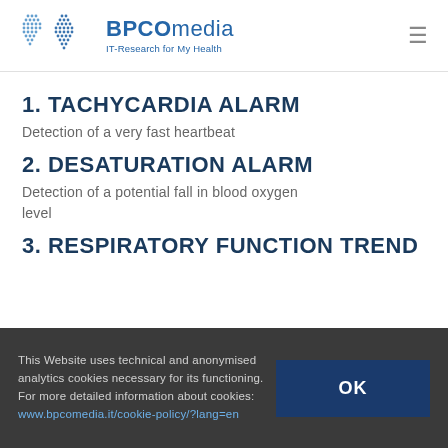[Figure (logo): BPCOmedia logo with two lung/droplet icons in blue dots pattern and text 'BPCOmedia IT-Research for My Health']
1. TACHYCARDIA ALARM
Detection of a very fast heartbeat
2. DESATURATION ALARM
Detection of a potential fall in blood oxygen level
3. RESPIRATORY FUNCTION TREND
This Website uses technical and anonymised analytics cookies necessary for its functioning. For more detailed information about cookies: www.bpcomedia.it/cookie-policy/?lang=en